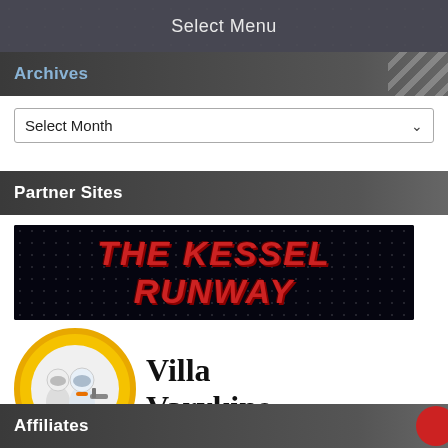Select Menu
Archives
Select Month
Partner Sites
[Figure (logo): The Kessel Runway logo banner — red bold italic text on black starfield background]
[Figure (logo): Villa Varykino logo — circular yellow badge with Star Wars figures on left, serif text 'Villa Varykino' on right]
Affiliates